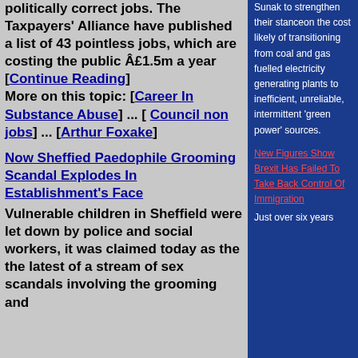politically correct jobs. The Taxpayers' Alliance have published a list of 43 pointless jobs, which are costing the public £1.5m a year [Continue Reading]
More on this topic: [Career In Substance Abuse] ... [ Council non jobs] ... [Arthur Foxake]
Now Sheffied Paedophile Grooming Scandal Explodes In Establishment's Face
Vulnerable children in Sheffield were let down by police and social workers, it was claimed today as the the latest of a stream of sex scandals involving the grooming and
Sunak to strengthen their stanceon the cost likely of transitioning from coal and gas fuelled electricity generating plants to inefficient, unreliable, intermittent 'green power' sources.
New Figures Show Brexit Has Failed To Take Back Control Of Immigration
Just over six years